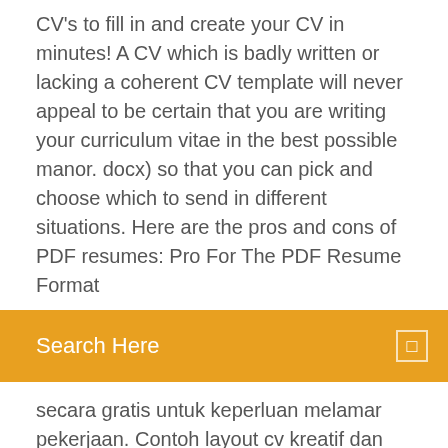CV's to fill in and create your CV in minutes! A CV which is badly written or lacking a coherent CV template will never appeal to be certain that you are writing your curriculum vitae in the best possible manor. docx) so that you can pick and choose which to send in different situations. Here are the pros and cons of PDF resumes: Pro For The PDF Resume Format
Search Here
secara gratis untuk keperluan melamar pekerjaan. Contoh layout cv kreatif dan elegan Tahun 2019. contoh-CV-menarik-rumuscoid.docx - CaraGeo File Download file - contoh-CV-menarik-rumuscoid.docx. This website uses cookies to ensure you get the best experience on our website. contoh-cv-menarik-dan-informatif.docx - Google Drive contoh-cv-menarik-dan-informatif.docx - Google Drive Loading… Contoh CV Bahasa Indonesia dengan Desain yang Menarik
2016 Nov 11 - Download Contoh CV atau Daftar Riwayat